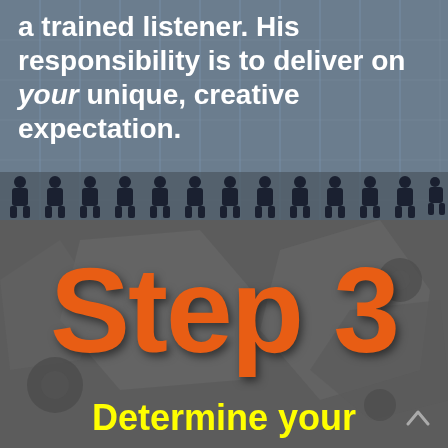a trained listener. His responsibility is to deliver on your unique, creative expectation.
[Figure (illustration): Row of silhouetted people figures at the bottom of the top section, with a grid-lined gray background]
Step 3
Determine your